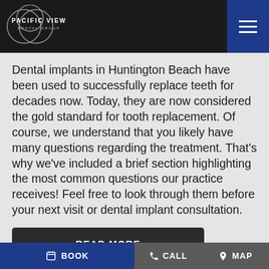[Figure (logo): Pacific View Dental Group logo with overlapping circles and text on dark background header]
Dental implants in Huntington Beach have been used to successfully replace teeth for decades now. Today, they are now considered the gold standard for tooth replacement. Of course, we understand that you likely have many questions regarding the treatment. That’s why we’ve included a brief section highlighting the most common questions our practice receives! Feel free to look through them before your next visit or dental implant consultation.
READ MORE
BOOK   CALL   MAP